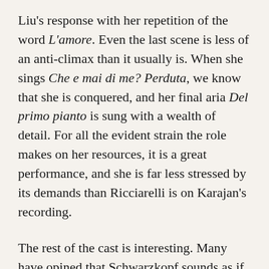Liu's response with her repetition of the word L'amore. Even the last scene is less of an anti-climax than it usually is. When she sings Che e mai di me? Perduta, we know that she is conquered, and her final aria Del primo pianto is sung with a wealth of detail. For all the evident strain the role makes on her resources, it is a great performance, and she is far less stressed by its demands than Ricciarelli is on Karajan's recording.
The rest of the cast is interesting. Many have opined that Schwarzkopf sounds as if she had wandered in from the wrong opera, but I like her finely nuanced and beautifully shaded Liu. She is particularly impressive in her exchanges with Turandot and in